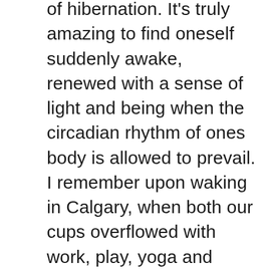of hibernation. It's truly amazing to find oneself suddenly awake, renewed with a sense of light and being when the circadian rhythm of ones body is allowed to prevail. I remember upon waking in Calgary, when both our cups overflowed with work, play, yoga and instructing, always waking so tired, scattered and somewhat unsatiated. Amazing what a lifestyle change and a few months can do. Living and following ones dream, without the dictation of daily schedules and appointments leads me to believe that life doesn't have to be so structural and finite. That with the flow of existence comes the renewal that our bodies so desperately crave. Activities such as meditation, yoga, or exercise help to redirect our energies into a positive outlet. But living a life of self-direction and motivation with as little stress as possible also